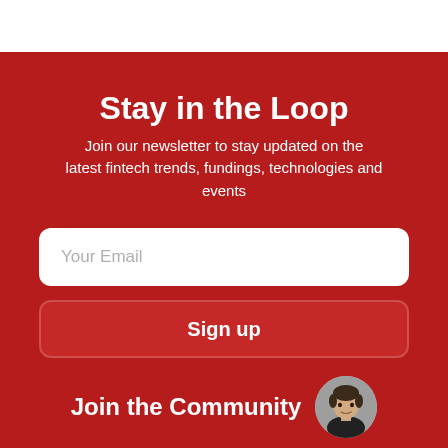Stay in the Loop
Join our newsletter to stay updated on the latest fintech trends, fundings, technologies and events
[Figure (other): Email input field with placeholder text 'Your Email' on white rounded rectangle background]
[Figure (other): Sign up button with bold white text on dark red rounded rectangle]
Join the Community
[Figure (photo): Circular avatar photo of a young man with short dark hair wearing a dark shirt]